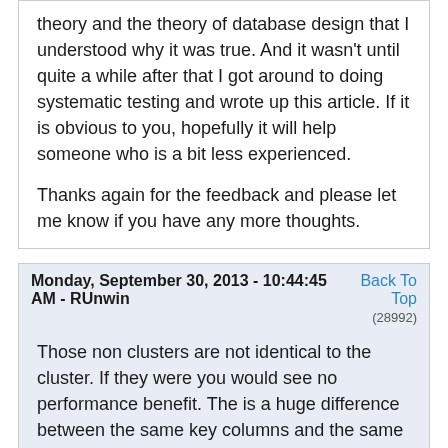theory and the theory of database design that I understood why it was true.  And it wasn't until quite a while after that I got around to doing systematic testing and wrote up this article.  If it is obvious to you, hopefully it will help someone who is a bit less experienced.

Thanks again for the feedback and please let me know if you have any more thoughts.
Monday, September 30, 2013 - 10:44:45 AM - RUnwin
Back To Top
(28992)
Those non clusters are not identical to the cluster. If they were you would see no performance benefit. The is a huge difference between the same key columns and the same index. I can create many different indexes on those tables with the same key columns.